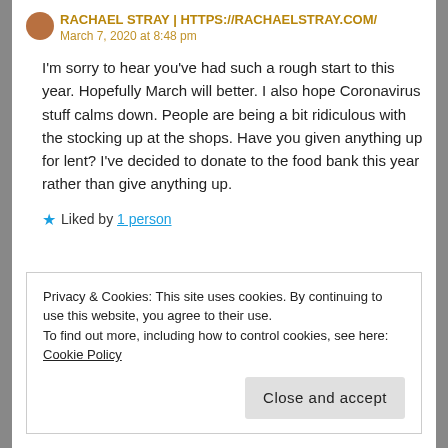RACHAEL STRAY | HTTPS://RACHAELSTRAY.COM/
March 7, 2020 at 8:48 pm
I'm sorry to hear you've had such a rough start to this year. Hopefully March will better. I also hope Coronavirus stuff calms down. People are being a bit ridiculous with the stocking up at the shops. Have you given anything up for lent? I've decided to donate to the food bank this year rather than give anything up.
★ Liked by 1 person
Privacy & Cookies: This site uses cookies. By continuing to use this website, you agree to their use.
To find out more, including how to control cookies, see here: Cookie Policy
Close and accept